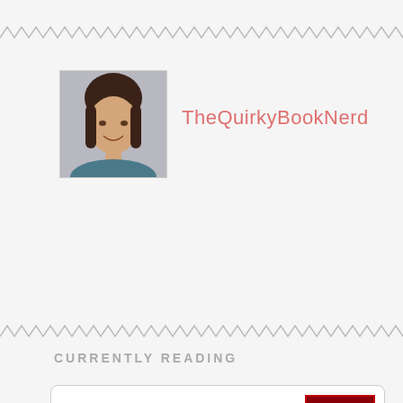[Figure (photo): Decorative zigzag/wavy divider line at top]
[Figure (photo): Profile photo of a young woman with dark hair, smiling]
TheQuirkyBookNerd
[Figure (photo): Decorative zigzag/wavy divider line in middle]
CURRENTLY READING
Kill Creek
by Scott Thomas
Good Girl, Bad Blood
by Holly Jackson
The Hacienda
by Isabel Cañas